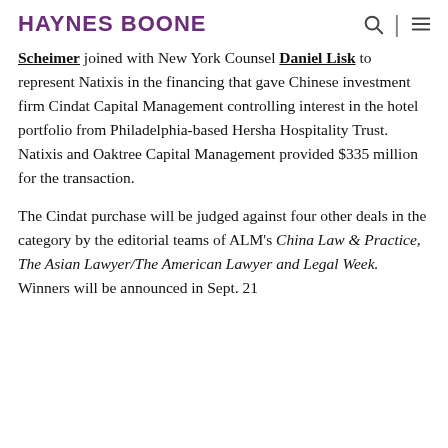HAYNES BOONE
Scheimer joined with New York Counsel Daniel Lisk to represent Natixis in the financing that gave Chinese investment firm Cindat Capital Management controlling interest in the hotel portfolio from Philadelphia-based Hersha Hospitality Trust. Natixis and Oaktree Capital Management provided $335 million for the transaction.
The Cindat purchase will be judged against four other deals in the category by the editorial teams of ALM's China Law & Practice, The Asian Lawyer/The American Lawyer and Legal Week. Winners will be announced in Sept. 21